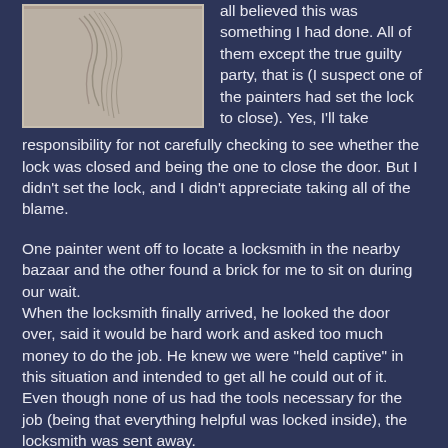[Figure (photo): A photo showing what appears to be hair or wire-like strands on a light surface, partially cropped at top]
all believed this was something I had done. All of them except the true guilty party, that is (I suspect one of the painters had set the lock to close). Yes, I'll take responsibility for not carefully checking to see whether the lock was closed and being the one to close the door. But I didn't set the lock, and I didn't appreciate taking all of the blame.
One painter went off to locate a locksmith in the nearby bazaar and the other found a brick for me to sit on during our wait.
When the locksmith finally arrived, he looked the door over, said it would be hard work and asked too much money to do the job. He knew we were "held captive" in this situation and intended to get all he could out of it. Even though none of us had the tools necessary for the job (being that everything helpful was locked inside), the locksmith was sent away.
And so we waited for the landlord to show up.
And while we waited, a pattern was put in place. The two boys had disappeared. It was only the painters and I left.